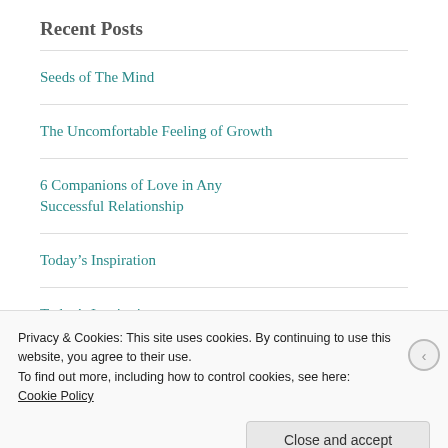Recent Posts
Seeds of The Mind
The Uncomfortable Feeling of Growth
6 Companions of Love in Any Successful Relationship
Today’s Inspiration
Today’s Inspiration
Privacy & Cookies: This site uses cookies. By continuing to use this website, you agree to their use.
To find out more, including how to control cookies, see here:
Cookie Policy
Close and accept